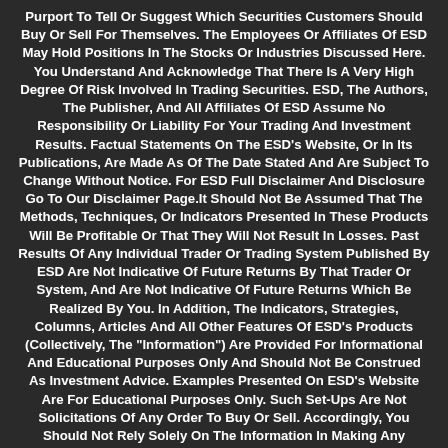Purport To Tell Or Suggest Which Securities Customers Should Buy Or Sell For Themselves. The Employees Or Affiliates Of ESD May Hold Positions In The Stocks Or Industries Discussed Here. You Understand And Acknowledge That There Is A Very High Degree Of Risk Involved In Trading Securities. ESD, The Authors, The Publisher, And All Affiliates Of ESD Assume No Responsibility Or Liability For Your Trading And Investment Results. Factual Statements On The ESD's Website, Or In Its Publications, Are Made As Of The Date Stated And Are Subject To Change Without Notice. For ESD Full Disclaimer And Disclosure Go To Our Disclaimer Page.It Should Not Be Assumed That The Methods, Techniques, Or Indicators Presented In These Products Will Be Profitable Or That They Will Not Result In Losses. Past Results Of Any Individual Trader Or Trading System Published By ESD Are Not Indicative Of Future Returns By That Trader Or System, And Are Not Indicative Of Future Returns Which Be Realized By You. In Addition, The Indicators, Strategies, Columns, Articles And All Other Features Of ESD's Products (Collectively, The "Information") Are Provided For Informational And Educational Purposes Only And Should Not Be Construed As Investment Advice. Examples Presented On ESD's Website Are For Educational Purposes Only. Such Set-Ups Are Not Solicitations Of Any Order To Buy Or Sell. Accordingly, You Should Not Rely Solely On The Information In Making Any Investment. Rather, You Should Use The Information Only As A Starting Point For Doing